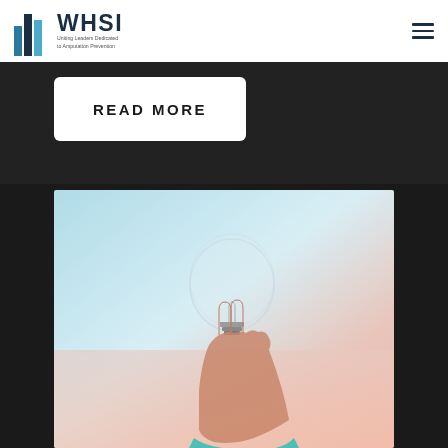[Figure (logo): WHSI logo with building icon bars and tagline: Uniting Leaders Dedicated to Amputation Prevention]
READ MORE
[Figure (photo): A hand holding up a clear glass light bulb against a gradient blue and pink sky background]